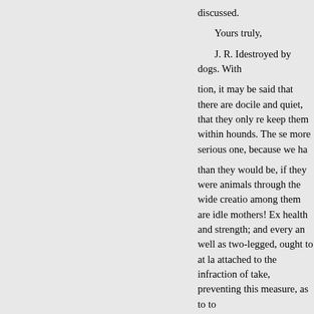discussed.
Yours truly,
J. R. Idestroyed by dogs. With
tion, it may be said that there are docile and quiet, that they only re keep them within hounds. The se more serious one, because we ha
than they would be, if they were animals through the wide creatio among them are idle mothers! Ex health and strength; and every an well as two-legged, ought to at la attached to the infraction of take, preventing this measure, as to to
. In many parts of In this conn has increased
count of an experiment, made so keep off dogs, allowing no perso
an intelligent “Yankee Farmer,” expense of keeping a yoke of ox somewhat more debilitating, in